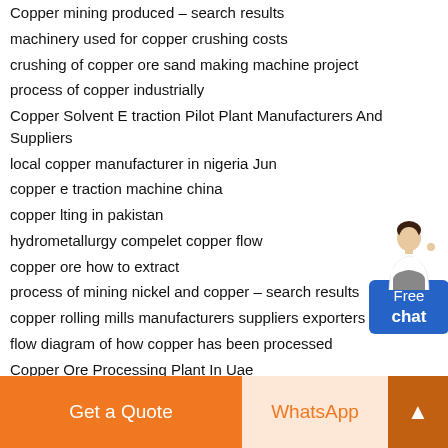Copper mining produced – search results
machinery used for copper crushing costs
crushing of copper ore sand making machine project
process of copper industrially
Copper Solvent E traction Pilot Plant Manufacturers And Suppliers
local copper manufacturer in nigeria Jun
copper e traction machine china
copper lting in pakistan
hydrometallurgy compelet copper flow
copper ore how to extract
process of mining nickel and copper – search results
copper rolling mills manufacturers suppliers exporters
flow diagram of how copper has been processed
Copper Ore Processing Plant In Uae
kolkata copper mining process georgetown canada of mi ed copper ore
the cost for electrowinning cell house of copper
[Figure (illustration): Chat widget with person illustration and blue Free chat button]
Get a Quote | WhatsApp | ▲